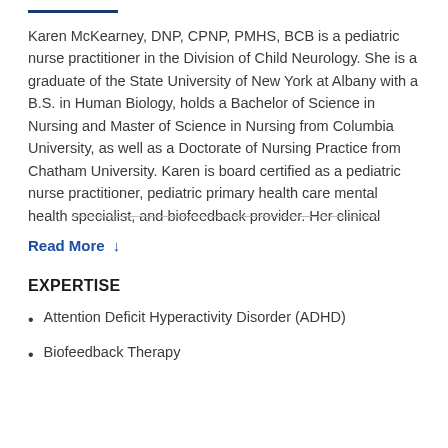Karen McKearney, DNP, CPNP, PMHS, BCB is a pediatric nurse practitioner in the Division of Child Neurology. She is a graduate of the State University of New York at Albany with a B.S. in Human Biology, holds a Bachelor of Science in Nursing and Master of Science in Nursing from Columbia University, as well as a Doctorate of Nursing Practice from Chatham University. Karen is board certified as a pediatric nurse practitioner, pediatric primary health care mental health specialist, and biofeedback provider. Her clinical
Read More ↓
EXPERTISE
Attention Deficit Hyperactivity Disorder (ADHD)
Biofeedback Therapy